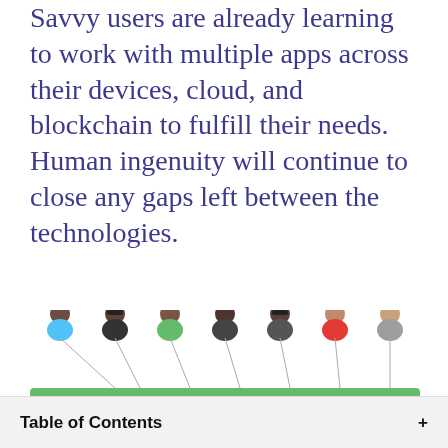Savvy users are already learning to work with multiple apps across their devices, cloud, and blockchain to fulfill their needs. Human ingenuity will continue to close any gaps left between the technologies.
[Figure (infographic): Diagram showing seven user avatars at the top connected by lines to a green DEVICE layer containing icons for Chat, Transportation, Photo & Media, Wallet, Finance, Social Network, Search; below that a purple CLOUD layer with partial icons visible at the bottom.]
Table of Contents +